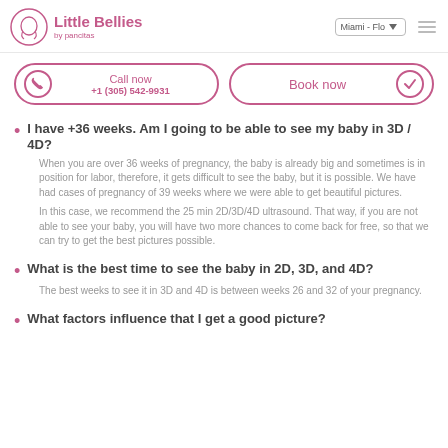Little Bellies by pancitas — Miami - Flo
Call now +1 (305) 542-9931
Book now
I have +36 weeks. Am I going to be able to see my baby in 3D / 4D?
When you are over 36 weeks of pregnancy, the baby is already big and sometimes is in position for labor, therefore, it gets difficult to see the baby, but it is possible. We have had cases of pregnancy of 39 weeks where we were able to get beautiful pictures.
In this case, we recommend the 25 min 2D/3D/4D ultrasound. That way, if you are not able to see your baby, you will have two more chances to come back for free, so that we can try to get the best pictures possible.
What is the best time to see the baby in 2D, 3D, and 4D?
The best weeks to see it in 3D and 4D is between weeks 26 and 32 of your pregnancy.
What factors influence that I get a good picture?